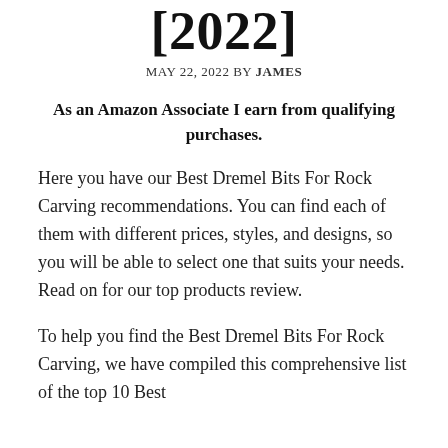[2022]
MAY 22, 2022 BY JAMES
As an Amazon Associate I earn from qualifying purchases.
Here you have our Best Dremel Bits For Rock Carving recommendations. You can find each of them with different prices, styles, and designs, so you will be able to select one that suits your needs. Read on for our top products review.
To help you find the Best Dremel Bits For Rock Carving, we have compiled this comprehensive list of the top 10 Best